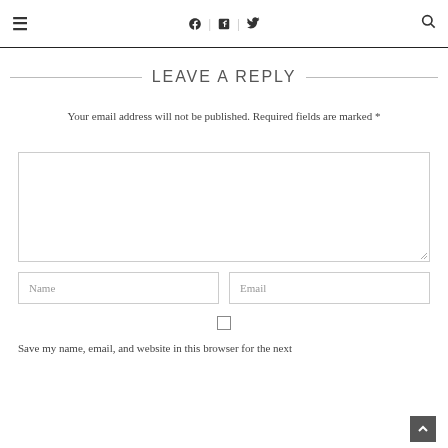≡  f | in | 🐦  🔍
LEAVE A REPLY
Your email address will not be published. Required fields are marked *
[Comment textarea]
Name
Email
[Checkbox] Save my name, email, and website in this browser for the next